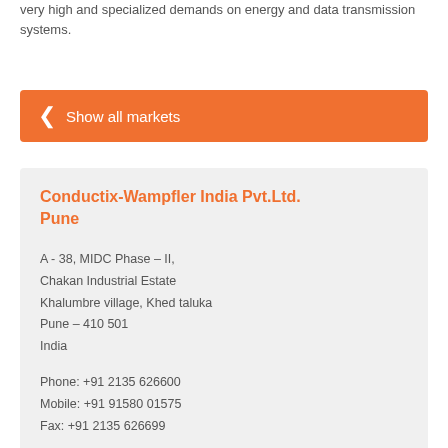very high and specialized demands on energy and data transmission systems.
Show all markets
Conductix-Wampfler India Pvt.Ltd. Pune
A - 38, MIDC Phase – II, Chakan Industrial Estate Khalumbre village, Khed taluka Pune – 410 501 India
Phone: +91 2135 626600
Mobile: +91 91580 01575
Fax: +91 2135 626699
www.conductix.in/
info.in@conductix.com
vCard